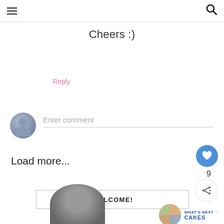Cheers :)
Reply
Enter comment
Load more...
WELCOME!
WHAT'S NEXT → CAKES